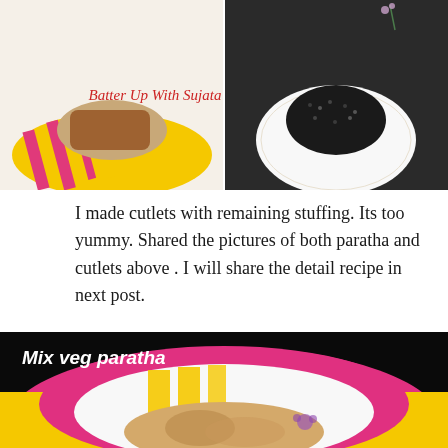[Figure (photo): Two food photos side by side: left shows a food item on a yellow and pink striped plate, right shows a dark crumb-coated item on a white decorative plate. Text overlay 'Batter Up With Sujata' in red italic script in the center.]
I made cutlets with remaining stuffing. Its too yummy. Shared the pictures of both paratha and cutlets above . I will share the detail recipe in next post.
[Figure (photo): Photo of a mix veg paratha on a colorful pink and yellow striped plate with a white decorative plate underneath, against a black background. Text 'Mix veg paratha' in white italic font in upper left.]